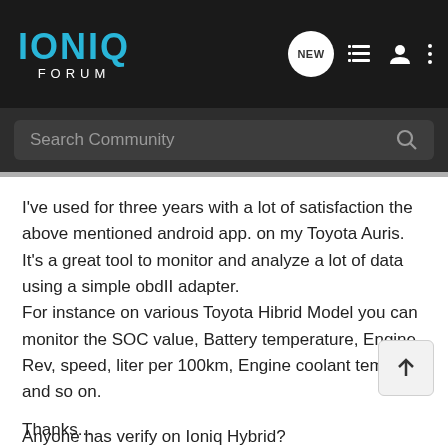IONIQ FORUM
Search Community
I've used for three years with a lot of satisfaction the above mentioned android app. on my Toyota Auris.
It's a great tool to monitor and analyze a lot of data using a simple obdII adapter.
For instance on various Toyota Hibrid Model you can monitor the SOC value, Battery temperature, Engine Rev, speed, liter per 100km, Engine coolant temp. and so on.

Anyone has verify on Ioniq Hybrid?

It can be incredible to share the dashboard on the 8" lcs display via android auto!
Thanks...